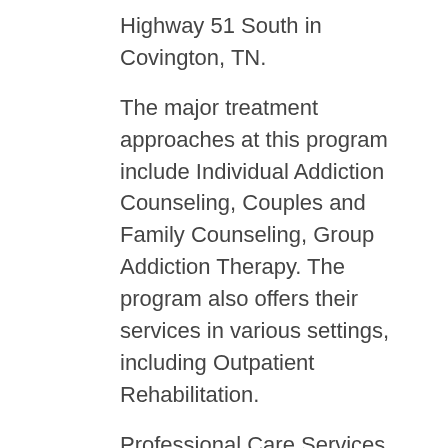Highway 51 South in Covington, TN.
The major treatment approaches at this program include Individual Addiction Counseling, Couples and Family Counseling, Group Addiction Therapy. The program also offers their services in various settings, including Outpatient Rehabilitation.
Professional Care Services Inc also offers a number of programs that are tailored to address the needs of specific clients such as: Court Ordered Outpatient Addiction Treatment. Lastly, Professional Care Services Inc accepts different forms of payment, including Private Payment, Insurance Through Medicaid, Private